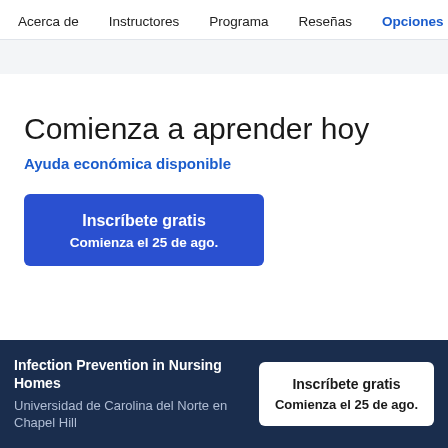Acerca de  Instructores  Programa  Reseñas  Opciones
Comienza a aprender hoy
Ayuda económica disponible
Inscríbete gratis
Comienza el 25 de ago.
Infection Prevention in Nursing Homes
Universidad de Carolina del Norte en Chapel Hill
Inscríbete gratis
Comienza el 25 de ago.